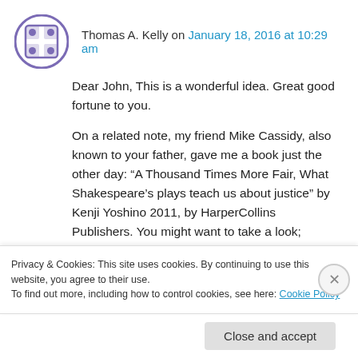Thomas A. Kelly on January 18, 2016 at 10:29 am
Dear John, This is a wonderful idea. Great good fortune to you.

On a related note, my friend Mike Cassidy, also known to your father, gave me a book just the other day: “A Thousand Times More Fair, What Shakespeare’s plays teach us about justice” by Kenji Yoshino 2011, by HarperCollins Publishers. You might want to take a look; crossover material. Your Uncle, Tom
Privacy & Cookies: This site uses cookies. By continuing to use this website, you agree to their use.
To find out more, including how to control cookies, see here: Cookie Policy
Close and accept